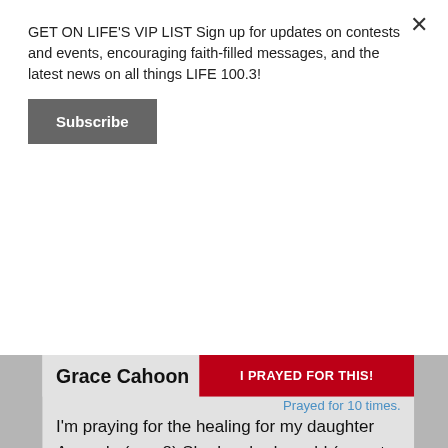GET ON LIFE'S VIP LIST Sign up for updates on contests and events, encouraging faith-filled messages, and the latest news on all things LIFE 100.3!
Subscribe
Grace Cahoon
I PRAYED FOR THIS!
Prayed for 10 times.
I'm praying for the healing for my daughter Amanda (age 8) She has had a cold (no not Covid-19) since Monday, March 9th and is having a hard time breathing due to being stuffed up. Her neck has also been extremely stiff for 3 days now and it is causing her extreme pain and very minimal movement, asking for